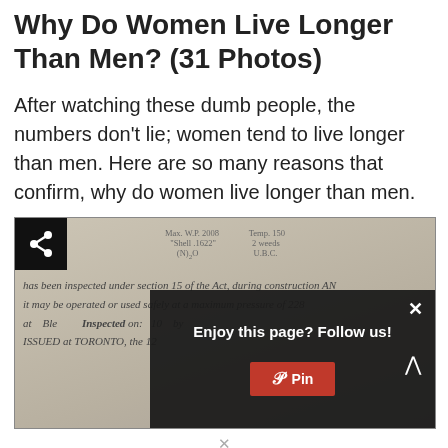Why Do Women Live Longer Than Men? (31 Photos)
After watching these dumb people, the numbers don't lie; women tend to live longer than men. Here are so many reasons that confirm, why do women live longer than men.
[Figure (photo): Photo of a faded official document with text about inspection under section 15 of the Act, with a popup overlay saying 'Enjoy this page? Follow us!' and a Pinterest button, plus a share button in the top-left corner.]
×